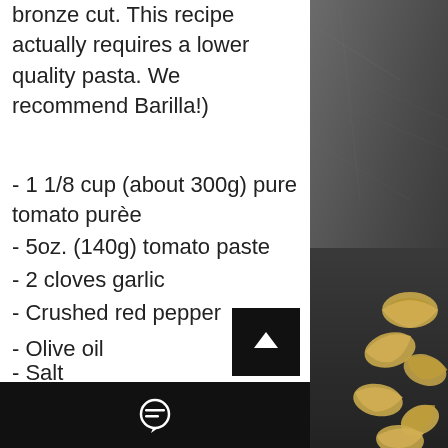bronze cut. This recipe actually requires a lower quality pasta. We recommend Barilla!)
- 1 1/8 cup (about 300g) pure tomato purèe
- 5oz. (140g) tomato paste
- 2 cloves garlic
- Crushed red pepper
- Olive oil
- Salt
In a small saucepan, add 1/8 cup (2 tbsp) tomato purèe and the tomato paste into about 20 ounces (700g) of water. Stir, bring to a simmer on the stovetop, and salt to taste.
[Figure (photo): Dark slate background with dried shell pasta in bottom right corner]
[Figure (other): Black scroll-to-top button with upward arrow icon]
Black bar with chat/comment icon